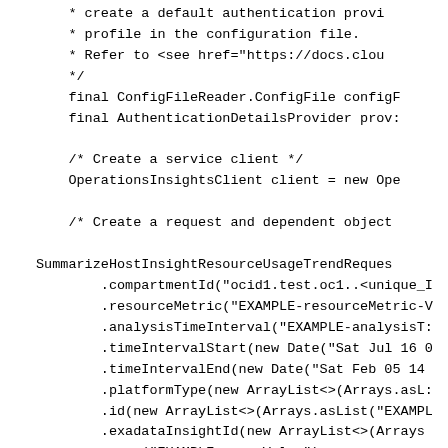Code snippet showing Java API usage for SummarizeHostInsightResourceUsageTrend with authentication and client setup